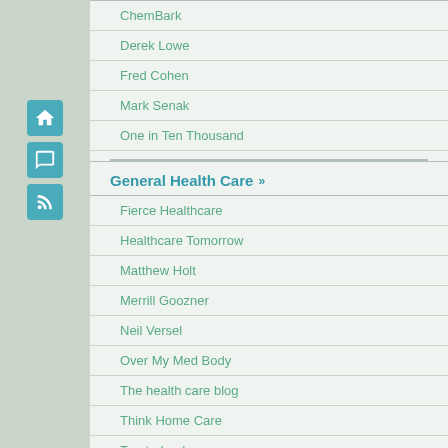ChemBark
Derek Lowe
Fred Cohen
Mark Senak
One in Ten Thousand
General Health Care »
Fierce Healthcare
Healthcare Tomorrow
Matthew Holt
Merrill Goozner
Neil Versel
Over My Med Body
The health care blog
Think Home Care
Trusted.md
WSJ Health Blog
Health Business »
Alan Goldberg